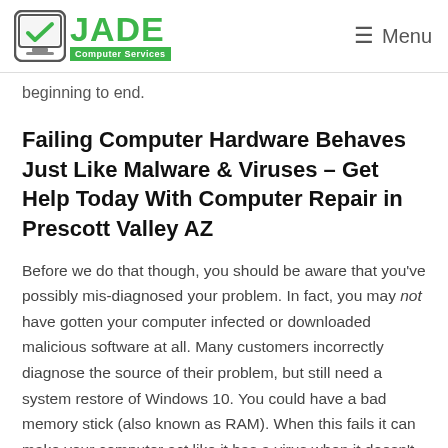JADE Computer Services — Menu
beginning to end.
Failing Computer Hardware Behaves Just Like Malware & Viruses – Get Help Today With Computer Repair in Prescott Valley AZ
Before we do that though, you should be aware that you've possibly mis-diagnosed your problem. In fact, you may not have gotten your computer infected or downloaded malicious software at all. Many customers incorrectly diagnose the source of their problem, but still need a system restore of Windows 10. You could have a bad memory stick (also known as RAM). When this fails it can make your computer act like it has a virus when it doesn't. Also, if your computer is more than 2 years old, you may also be